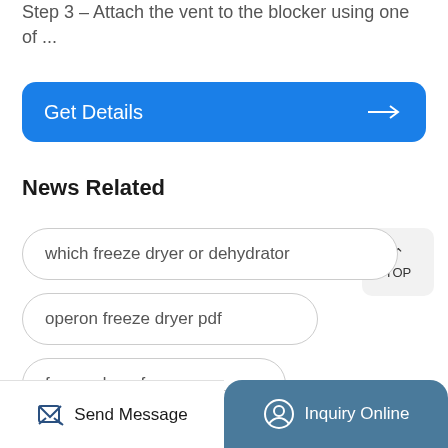Step 3 – Attach the vent to the blocker using one of ...
Get Details →
News Related
which freeze dryer or dehydrator
operon freeze dryer pdf
freeze dryer for eggs
taxidermy freeze dryer price
liquid nitrogen freeze dryer
Send Message
Inquiry Online